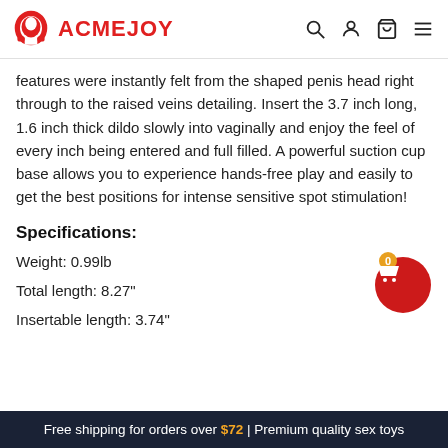ACMEJOY
features were instantly felt from the shaped penis head right through to the raised veins detailing. Insert the 3.7 inch long, 1.6 inch thick dildo slowly into vaginally and enjoy the feel of every inch being entered and full filled. A powerful suction cup base allows you to experience hands-free play and easily to get the best positions for intense sensitive spot stimulation!
Specifications:
Weight: 0.99lb
Total length: 8.27"
Insertable length: 3.74"
Free shipping for orders over $72 | Premium quality sex toys